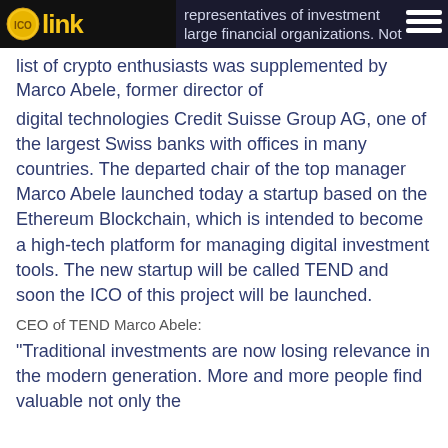[Figure (logo): ICO Link logo with gold coin and yellow text 'link' on dark background]
...representatives of investment ...large financial organizations. Not... ...list of crypto enthusiasts was supplemented by Marco Abele, former director of digital technologies Credit Suisse Group AG, one of the largest Swiss banks with offices in many countries. The departed chair of the top manager Marco Abele launched today a startup based on the Ethereum Blockchain, which is intended to become a high-tech platform for managing digital investment tools. The new startup will be called TEND and soon the ICO of this project will be launched.
CEO of TEND Marco Abele:
"Traditional investments are now losing relevance in the modern generation. More and more people find valuable not only the...